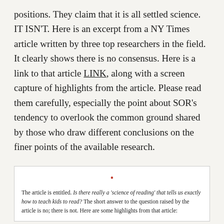positions. They claim that it is all settled science. IT ISN'T. Here is an excerpt from a NY Times article written by three top researchers in the field. It clearly shows there is no consensus. Here is a link to that article LINK, along with a screen capture of highlights from the article. Please read them carefully, especially the point about SOR's tendency to overlook the common ground shared by those who draw different conclusions on the finer points of the available research.
The article is entitled. Is there really a 'science of reading' that tells us exactly how to teach kids to read? The short answer to the question raised by the article is no; there is not. Here are some highlights from that article: